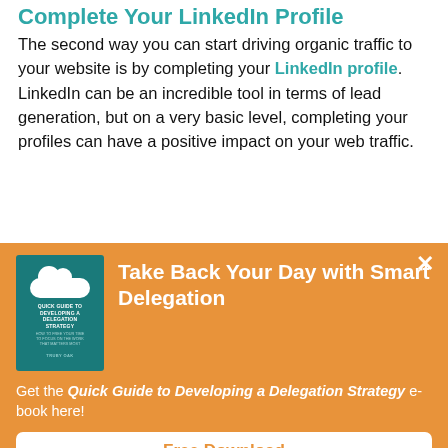Complete Your LinkedIn Profile
The second way you can start driving organic traffic to your website is by completing your LinkedIn profile. LinkedIn can be an incredible tool in terms of lead generation, but on a very basic level, completing your profiles can have a positive impact on your web traffic.
[Figure (screenshot): Partial screenshot of a webpage, partially obscured by the popup overlay]
[Figure (infographic): Orange popup/modal overlay with book cover image for 'Quick Guide to Developing a Delegation Strategy', headline 'Take Back Your Day with Smart Delegation', body text about the e-book, and a Free Download button]
Take Back Your Day with Smart Delegation
Get the Quick Guide to Developing a Delegation Strategy e-book here!
Free Download